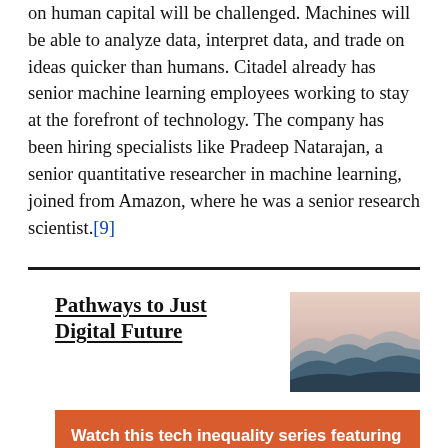on human capital will be challenged. Machines will be able to analyze data, interpret data, and trade on ideas quicker than humans. Citadel already has senior machine learning employees working to stay at the forefront of technology. The company has been hiring specialists like Pradeep Natarajan, a senior quantitative researcher in machine learning, joined from Amazon, where he was a senior research scientist.[9]
[Figure (illustration): Misty layered mountain landscape with pastel pink sky, blue-grey mountain silhouettes fading into distance]
Pathways to Just Digital Future
Watch this tech inequality series featuring scholars, practitioners, & activists